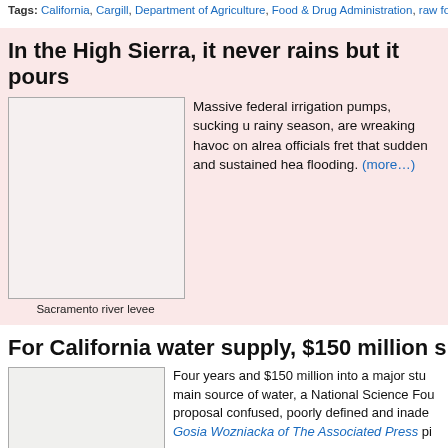Tags: California, Cargill, Department of Agriculture, Food & Drug Administration, raw food,
In the High Sierra, it never rains but it pours
[Figure (photo): Sacramento river levee photo placeholder]
Sacramento river levee
Massive federal irrigation pumps, sucking up rainy season, are wreaking havoc on already officials fret that sudden and sustained hea flooding. (more...)
Topics: Army Corps of Engineers, Beltway Outsider, Bureau of Reclamation, Departmentalizat Fisheries Service, Regulation
For California water supply, $150 million spent to n
[Figure (photo): Article 2 image placeholder]
Four years and $150 million into a major stu main source of water, a National Science Fou proposal confused, poorly defined and inade Gosia Wozniacka of The Associated Press p
Power brokers managing California's fresh w state's two major rivers — the Sacramento a